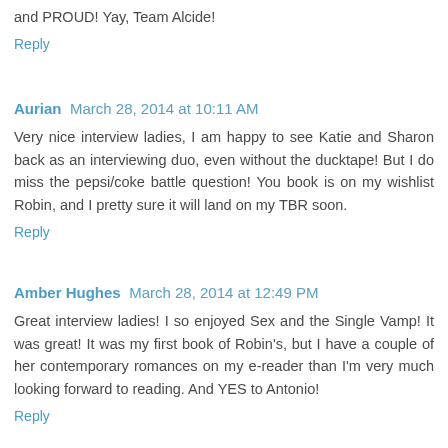and PROUD! Yay, Team Alcide!
Reply
Aurian  March 28, 2014 at 10:11 AM
Very nice interview ladies, I am happy to see Katie and Sharon back as an interviewing duo, even without the ducktape! But I do miss the pepsi/coke battle question! You book is on my wishlist Robin, and I pretty sure it will land on my TBR soon.
Reply
Amber Hughes  March 28, 2014 at 12:49 PM
Great interview ladies! I so enjoyed Sex and the Single Vamp! It was great! It was my first book of Robin's, but I have a couple of her contemporary romances on my e-reader than I'm very much looking forward to reading. And YES to Antonio!
Reply